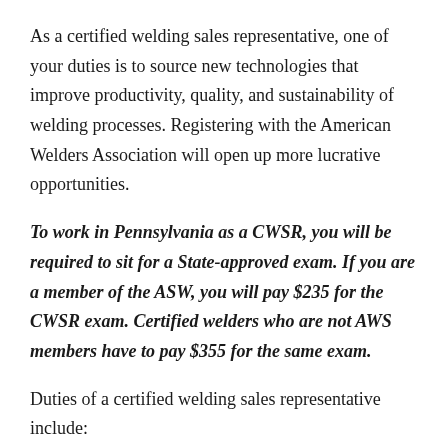As a certified welding sales representative, one of your duties is to source new technologies that improve productivity, quality, and sustainability of welding processes. Registering with the American Welders Association will open up more lucrative opportunities.
To work in Pennsylvania as a CWSR, you will be required to sit for a State-approved exam. If you are a member of the ASW, you will pay $235 for the CWSR exam. Certified welders who are not AWS members have to pay $355 for the same exam.
Duties of a certified welding sales representative include: